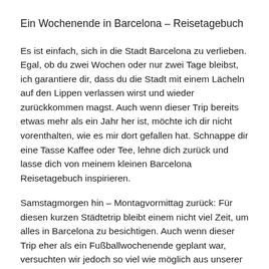Ein Wochenende in Barcelona – Reisetagebuch
Es ist einfach, sich in die Stadt Barcelona zu verlieben. Egal, ob du zwei Wochen oder nur zwei Tage bleibst, ich garantiere dir, dass du die Stadt mit einem Lächeln auf den Lippen verlassen wirst und wieder zurückkommen magst. Auch wenn dieser Trip bereits etwas mehr als ein Jahr her ist, möchte ich dir nicht vorenthalten, wie es mir dort gefallen hat. Schnappe dir eine Tasse Kaffee oder Tee, lehne dich zurück und lasse dich von meinem kleinen Barcelona Reisetagebuch inspirieren.
Samstagmorgen hin – Montagvormittag zurück: Für diesen kurzen Städtetrip bleibt einem nicht viel Zeit, um alles in Barcelona zu besichtigen. Auch wenn dieser Trip eher als ein Fußballwochenende geplant war, versuchten wir jedoch so viel wie möglich aus unserer Zeit zu machen und Barcelona bestmöglich zu genießen. Solltest du jemals für diese kurze Zeit in Barcelona sein, empfehle ich dir, an einem Tag Die...